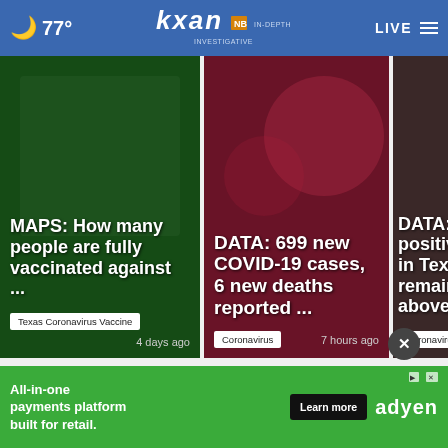🌙 77° | kxan IN-DEPTH INVESTIGATIVE | LIVE ☰
[Figure (screenshot): News card 1: Green background showing MAPS: How many people are fully vaccinated against... with tag 'Texas Coronavirus Vaccine' and '4 days ago']
[Figure (screenshot): News card 2: Red/floral background showing DATA: 699 new COVID-19 cases, 6 new deaths reported... with tag 'Coronavirus' and '7 hours ago']
[Figure (screenshot): News card 3: Dark background showing DATA: Co positive in Texas remains above... with tag 'Coronavirus']
Coronavirus Cases Tracker ›
AUSTIN WEATHER
Current | Tonight | Tomorrow
All-in-one payments platform built for retail. Learn more adyen